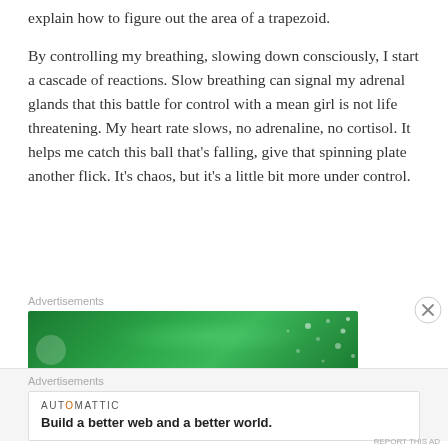explain how to figure out the area of a trapezoid.
By controlling my breathing, slowing down consciously, I start a cascade of reactions. Slow breathing can signal my adrenal glands that this battle for control with a mean girl is not life threatening. My heart rate slows, no adrenaline, no cortisol. It helps me catch this ball that’s falling, give that spinning plate another flick. It’s chaos, but it’s a little bit more under control.
Advertisements
[Figure (other): Green advertisement banner with circular gradient and dot pattern]
Advertisements
[Figure (other): Automattic advertisement: Build a better web and a better world.]
REPORT THIS AD